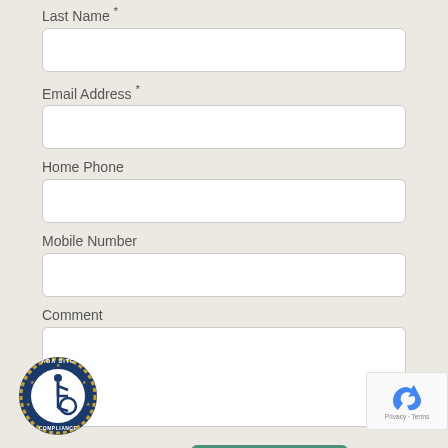Last Name *
Email Address *
Home Phone
Mobile Number
Comment
[Figure (logo): ADA Site Compliance circular badge with wheelchair accessibility icon]
[Figure (other): reCAPTCHA widget with robot icon and 'Privacy - Terms' text]
Submit